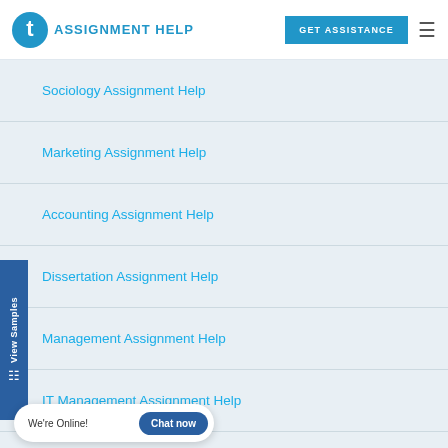TAssignmentHelp — GET ASSISTANCE
Sociology Assignment Help
Marketing Assignment Help
Accounting Assignment Help
Dissertation Assignment Help
Management Assignment Help
IT Management Assignment Help
We're Online!  Chat now